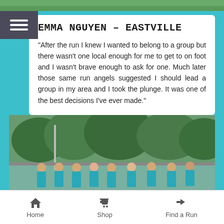[Figure (photo): Top strip of a photo (green outdoor scenery)]
[Figure (other): Hamburger menu button with three white horizontal lines on dark background]
EMMA NGUYEN – EASTVILLE
"After the run I knew I wanted to belong to a group but there wasn't one local enough for me to get to on foot and I wasn't brave enough to ask for one. Much later those same run angels suggested I should lead a group in my area and I took the plunge. It was one of the best decisions I've ever made."
[Figure (photo): Group of women in blue running shirts jogging together outdoors with green trees in background]
Home   Shop   Find a Run